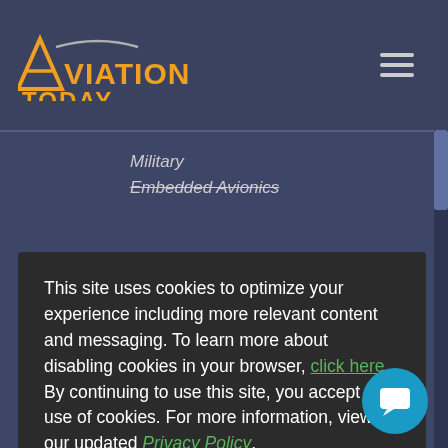Aviation Today
Military
Embedded Avionics
This site uses cookies to optimize your experience including more relevant content and messaging. To learn more about disabling cookies in your browser, click here.  By continuing to use this site, you accept our use of cookies. For more information, view our updated Privacy Policy.
I Consent